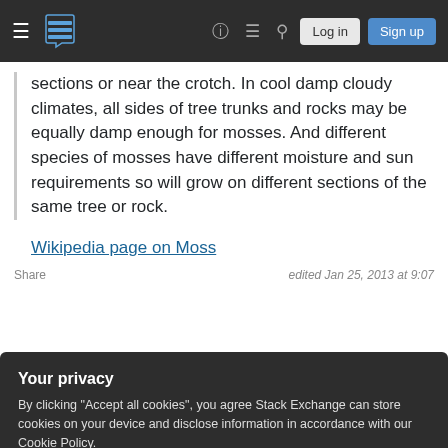[Figure (screenshot): Stack Exchange navigation bar with hamburger menu, logo, help icon, chat icon, search icon, Log in and Sign up buttons on dark background]
sections or near the crotch. In cool damp cloudy climates, all sides of tree trunks and rocks may be equally damp enough for mosses. And different species of mosses have different moisture and sun requirements so will grow on different sections of the same tree or rock.
Wikipedia page on Moss
Share
edited Jan 25, 2013 at 9:07
Your privacy
By clicking "Accept all cookies", you agree Stack Exchange can store cookies on your device and disclose information in accordance with our Cookie Policy.
Accept all cookies
Customize settings